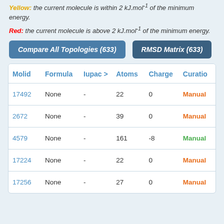Yellow: the current molecule is within 2 kJ.mol⁻¹ of the minimum energy.
Red: the current molecule is above 2 kJ.mol⁻¹ of the minimum energy.
Compare All Topologies (633)
RMSD Matrix (633)
| Molid | Formula | Iupac > | Atoms | Charge | Curation |
| --- | --- | --- | --- | --- | --- |
| 17492 | None | - | 22 | 0 | Manual |
| 2672 | None | - | 39 | 0 | Manual |
| 4579 | None | - | 161 | -8 | Manual |
| 17224 | None | - | 22 | 0 | Manual |
| 17256 | None | - | 27 | 0 | Manual |